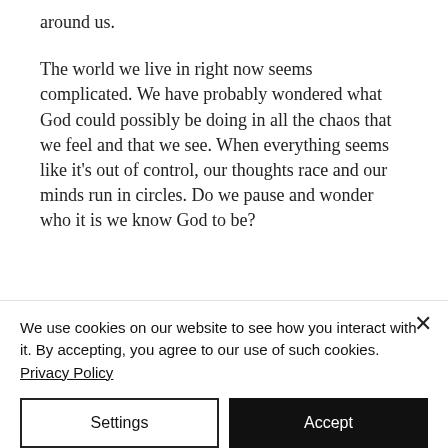around us.
The world we live in right now seems complicated. We have probably wondered what God could possibly be doing in all the chaos that we feel and that we see. When everything seems like it's out of control, our thoughts race and our minds run in circles. Do we pause and wonder who it is we know God to be?
We use cookies on our website to see how you interact with it. By accepting, you agree to our use of such cookies. Privacy Policy
Settings
Accept